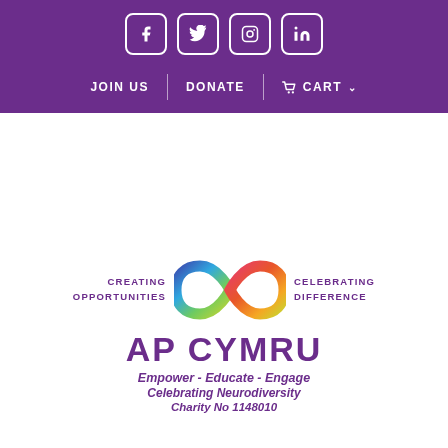[Figure (logo): Social media icons: Facebook, Twitter, Instagram, LinkedIn in white on purple background]
JOIN US | DONATE | CART
[Figure (logo): AP Cymru logo with rainbow infinity symbol, text: CREATING OPPORTUNITIES on left, CELEBRATING DIFFERENCE on right, AP CYMRU brand name, Empower - Educate - Engage, Celebrating Neurodiversity, Charity No 1148010]